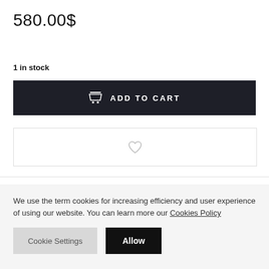580.00$
1 in stock
[Figure (screenshot): Dark button with shopping cart icon and text ADD TO CART]
[Figure (screenshot): White bordered button with heart/wishlist icon]
We use the term cookies for increasing efficiency and user experience of using our website. You can learn more our Cookies Policy
Cookie Settings | Allow